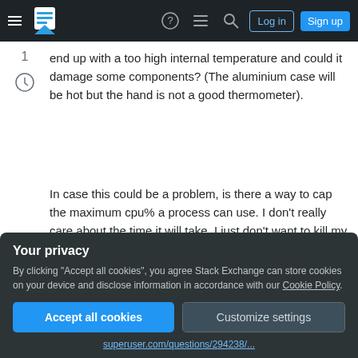Navigation bar with logo, help, search, Log in, Sign up
end up with a too high internal temperature and could it damage some components? (The aluminium case will be hot but the hand is not a good thermometer).
In case this could be a problem, is there a way to cap the maximum cpu% a process can use. I don't really care about the time it will take, I just don't want to kill my MBP...!
macbook-pro
hardware
Your privacy
By clicking "Accept all cookies", you agree Stack Exchange can store cookies on your device and disclose information in accordance with our Cookie Policy.
Accept all cookies
Customize settings
superuser.com/questions/294238/...